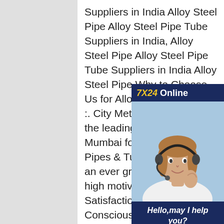Suppliers in India Alloy Steel Pipe Alloy Steel Pipe Tube Suppliers in India, Alloy Steel Pipe Alloy Steel Pipe Tube Suppliers in India Alloy Steel Pipe Why to Choose Us for Alloy Steel Pipe Tube :. Citi Metals Pvt.Ltd one of the leading Suppliers in Mumbai for manufacturing Pipes & Tube Products, is an ever growing firm with its high motive of Customer Satisfaction and Quality Consciousness of high attainable level.End Plain End, Beveled End, End Alloy Steel Pipe & Tube, API Carbon Steel Pipe Alloy Steel Pipe Tube Suppliers in India Alloy Steel Pipe Carbon Steel Pipe & Tube Omkar Doors is the first company in INDIA which was selected to supply a106 gr b sch 40 pipe , a53 gr b pipe , a333 gr 6 pipe , api 5l gr b
[Figure (photo): Customer service chat widget with a woman wearing a headset smiling, dark blue background, showing '7X24 Online' header, 'Hello, may I help you?' message, and 'Get Latest Price' button in yellow.]